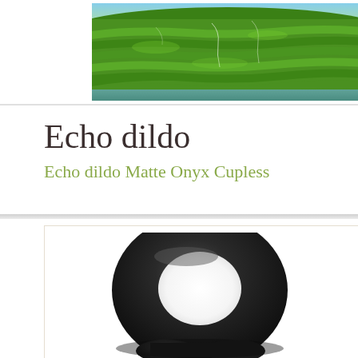[Figure (photo): Aerial view of green terraced rice fields or farmland with lush vegetation, cropped banner image at top of page]
Echo dildo
Echo dildo Matte Onyx Cupless
[Figure (photo): Black silicone ring-shaped product (Echo dildo Matte Onyx Cupless) shown from above, with a donut/torus shape and a figure-8 base, against white background]